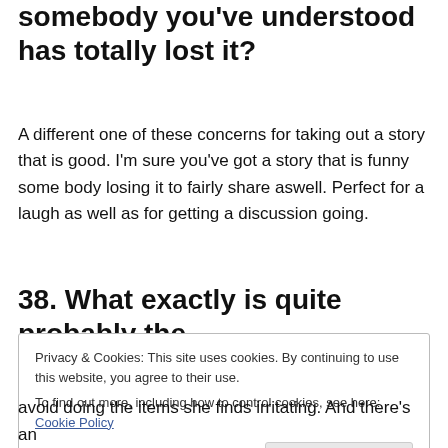somebody you've understood has totally lost it?
A different one of these concerns for taking out a story that is good. I'm sure you've got a story that is funny some body losing it to fairly share aswell. Perfect for a laugh as well as for getting a discussion going.
38. What exactly is quite probably the
Privacy & Cookies: This site uses cookies. By continuing to use this website, you agree to their use.
To find out more, including how to control cookies, see here: Cookie Policy
avoid doing the items she finds irritating. And there's an